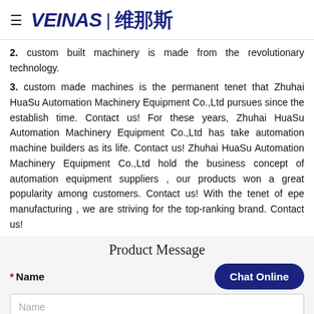VEINAS | 维那斯
2. custom built machinery is made from the revolutionary technology.
3. custom made machines is the permanent tenet that Zhuhai HuaSu Automation Machinery Equipment Co.,Ltd pursues since the establish time. Contact us! For these years, Zhuhai HuaSu Automation Machinery Equipment Co.,Ltd has take automation machine builders as its life. Contact us! Zhuhai HuaSu Automation Machinery Equipment Co.,Ltd hold the business concept of automation equipment suppliers , our products won a great popularity among customers. Contact us! With the tenet of epe manufacturing , we are striving for the top-ranking brand. Contact us!
Product Message
* Name
Name